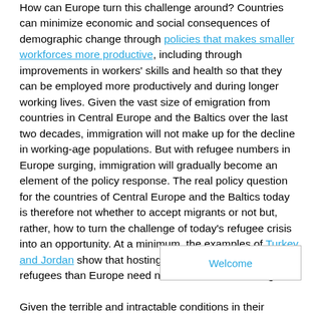How can Europe turn this challenge around? Countries can minimize economic and social consequences of demographic change through policies that makes smaller workforces more productive, including through improvements in workers' skills and health so that they can be employed more productively and during longer working lives. Given the vast size of emigration from countries in Central Europe and the Baltics over the last two decades, immigration will not make up for the decline in working-age populations. But with refugee numbers in Europe surging, immigration will gradually become an element of the policy response. The real policy question for the countries of Central Europe and the Baltics today is therefore not whether to accept migrants or not but, rather, how to turn the challenge of today's refugee crisis into an opportunity. At a minimum, the examples of Turkey and Jordan show that hosting far larger numbers of refugees than Europe need not be an economic drag.

Given the terrible and intractable conditions in their